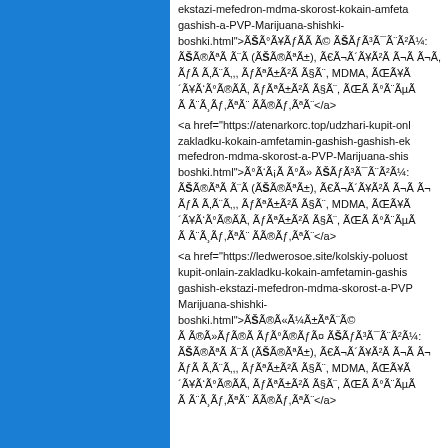ekstazi-mefedron-mdma-skorost-kokain-amfeta... gashish-a-PVP-Marijuana-shishki-boshki.html">ÃŠÃÃ¥ÃÃ Ã© ÃŠÃÃ³Ã¯Ã¨Ã²Ã¼: ÃŠÃ®ÃªÃ Ã¨Ã (ÃŠÃ®ÃªÃ±), Ã€Ã¬Ã´Ã¥Ã²Ã Ã¬Ã,Ã Ã,Ã¨Ã,, ÃÃªÃ±Ã²Ã Ã§Ã¨, MDMA, ÃŒÃ¥ÃŒ´Ã¥ÃÃ°Ã®ÃÃ, ÃÃªÃ±Ã²Ã Ã§Ã¨, ÃŒÃ Ã°Ã¨ÃµÃ, Ã Ã¨Ã¸Ã,ÃªÃ¨ Ã­Ã®Ã,ÃªÃ¨</a>
<a href="https://atenarkorc.top/udzhari-kupit-onl... zakladku-kokain-amfetamin-gashish-gashish-ek... mefedron-mdma-skorost-a-PVP-Marijuana-shis... boshki.html">Ã°ÃÃ¡Ã Ã°Ã» ÃŠÃÃ³Ã¯Ã¨Ã²Ã¼: ÃŠÃ®ÃªÃ Ã¨Ã (ÃŠÃ®ÃªÃ±), Ã€Ã¬Ã´Ã¥Ã²Ã Ã¬Ã­, Ã Ã,Ã¨Ã,, ÃÃªÃ±Ã²Ã Ã§Ã¨, MDMA, ÃŒÃ¥ÃŒ´Ã¥ÃÃ°Ã®ÃÃ, ÃÃªÃ±Ã²Ã Ã§Ã¨, ÃŒÃ Ã°Ã¨ÃµÃ, Ã Ã¨Ã¸Ã,ÃªÃ¨ Ã­Ã®Ã,ÃªÃ¨</a>
<a href="https://ledwerosoe.site/kolskiy-poluost... kupit-onlain-zakladku-kokain-amfetamin-gashis... gashish-ekstazi-mefedron-mdma-skorost-a-PVP-... Marijuana-shishki-boshki.html">ÃŠÃÃ®Ã«Ã¼Ã±ÃªÃ¨Ã© Ã¯Ã®Ã»Ã ÃŠÃÃ³Ã¯Ã¨Ã²Ã¼: ÃŠÃ®ÃªÃ Ã¨Ã (ÃŠÃ®ÃªÃ±), Ã€Ã¬Ã´Ã¥Ã²Ã Ã¬Ã­, Ã,Ã,Ã¨Ã,, ÃÃªÃ±Ã²Ã Ã§Ã¨, MDMA, ÃŒÃ¥ÃŒ´Ã¥ÃÃ°Ã®ÃÃ, ÃÃªÃ±Ã²Ã Ã§Ã¨, ÃŒÃ Ã°Ã¨ÃµÃ, Ã Ã¨Ã¸Ã,ÃªÃ¨ Ã­Ã®Ã,ÃªÃ¨</a>